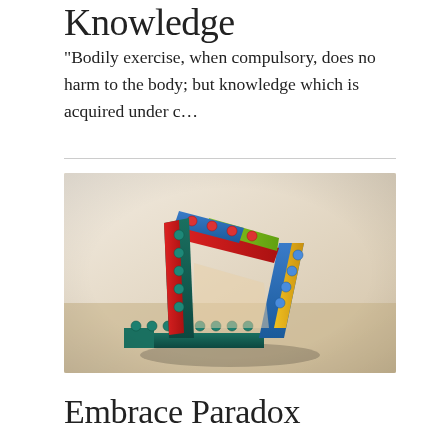Knowledge
"Bodily exercise, when compulsory, does no harm to the body; but knowledge which is acquired under c…
[Figure (photo): A Penrose triangle (impossible triangle) built from colorful LEGO DUPLO bricks — blue, red, yellow, green — photographed on a wooden surface with a blurred background.]
Embrace Paradox